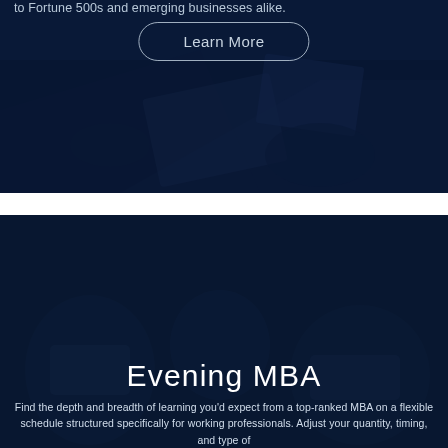to Fortune 500s and emerging businesses alike.
[Figure (photo): Dark blue-tinted photo of business professionals working at a table with documents, shot from above.]
Learn More
[Figure (photo): Dark blue-tinted photo of people in a classroom or lecture setting, blurred background.]
Evening MBA
Find the depth and breadth of learning you'd expect from a top-ranked MBA on a flexible schedule structured specifically for working professionals. Adjust your quantity, timing, and type of